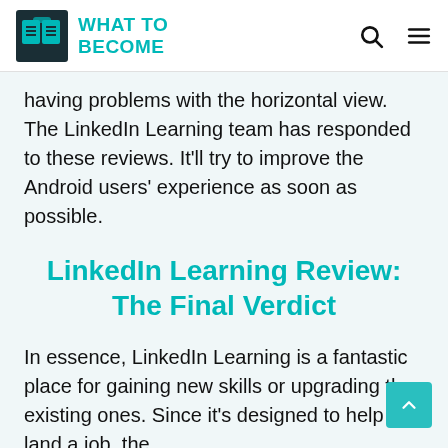WHAT TO BECOME
having problems with the horizontal view. The LinkedIn Learning team has responded to these reviews. It'll try to improve the Android users' experience as soon as possible.
LinkedIn Learning Review: The Final Verdict
In essence, LinkedIn Learning is a fantastic place for gaining new skills or upgrading the existing ones. Since it's designed to help you land a job, the